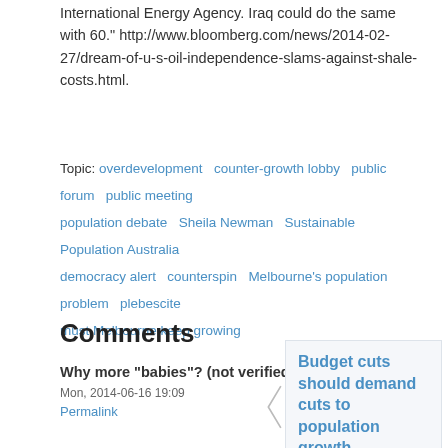International Energy Agency. Iraq could do the same with 60." http://www.bloomberg.com/news/2014-02-27/dream-of-u-s-oil-independence-slams-against-shale-costs.html.
Topic: overdevelopment  counter-growth lobby  public forum  public meeting  population debate  Sheila Newman  Sustainable Population Australia  democracy alert  counterspin  Melbourne's population problem  plebescite  must Melbourne keep growing
Comments
Why more "babies"? (not verified)
Mon, 2014-06-16 19:09
Permalink
Budget cuts should demand cuts to population growth
Australia's social safety net is at risk of being "destroyed" by billions of dollars worth of cuts in the federal budget, the nation's peak social services body ACOSS